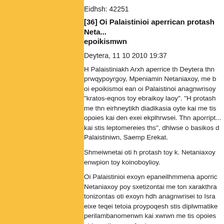Eidhsh: 42251
[36] Oi Palaistinioi aperrican protash Netaniaxoy gia ta epoikismwn
Deytera, 11 10 2010 19:37
H Palaistiniakh Arxh aperrice th Deytera thn protash toy prwqypoyrgoy, Mpeniamin Netaniaxoy, me b oi epoikismoi ean oi Palaistinoi anagnwrisoy "kratos-eqnos toy ebraikoy laoy". "H protash me thn eirhneytikh diadikasia oyte kai me tis opoies kai den exei ekplhrwsei. Thn aporripto kai stis leptomereies ths", dhlwse o basikos d Palaistiniwn, Saemp Erekat.
Shmeiwnetai oti h protash toy k. Netaniaxoy enwpion toy koinoboylioy.
Oi Palaistinioi exoyn epaneilhmmena aporric Netaniaxoy poy sxetizontai me ton xarakthra tonizontas oti exoyn hdh anagnwrisei to Isra eixe teqei tetoia proypoqesh stis diplwmatike perilambanomenwn kai xwrwn me tis opoies eirhneytikes symfwnies.